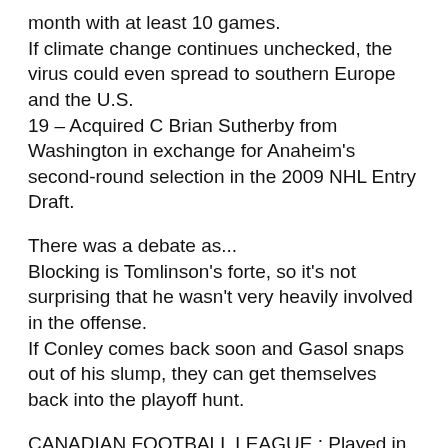month with at least 10 games.
If climate change continues unchecked, the virus could even spread to southern Europe and the U.S.
19 – Acquired C Brian Sutherby from Washington in exchange for Anaheim's second-round selection in the 2009 NHL Entry Draft.
There was a debate as...
Blocking is Tomlinson's forte, so it's not surprising that he wasn't very heavily involved in the offense.
If Conley comes back soon and Gasol snaps out of his slump, they can get themselves back into the playoff hunt.
CANADIAN FOOTBALL LEAGUE : Played in 18 games with the BC Lions...Set CFL career highs in